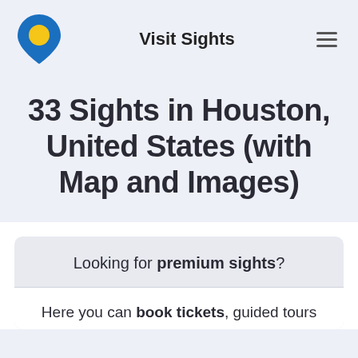Visit Sights
33 Sights in Houston, United States (with Map and Images)
Looking for premium sights?
Here you can book tickets, guided tours